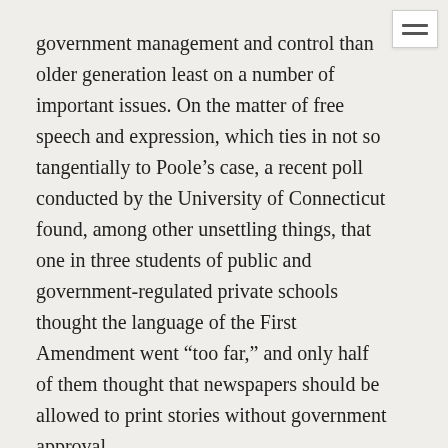government management and control than older generation least on a number of important issues. On the matter of free speech and expression, which ties in not so tangentially to Poole's case, a recent poll conducted by the University of Connecticut found, among other unsettling things, that one in three students of public and government-regulated private schools thought the language of the First Amendment went “too far,” and only half of them thought that newspapers should be allowed to print stories without government approval.

At least one federal lawmaker has suggested a typically bureaucratic remedy to the poor understanding of the Constitution on the part of America’s young: mandate more lessons on the Constitution. But considering the anti-individualistic authoritarian origins and nature of the American school system, we could probably expect the schools to do no